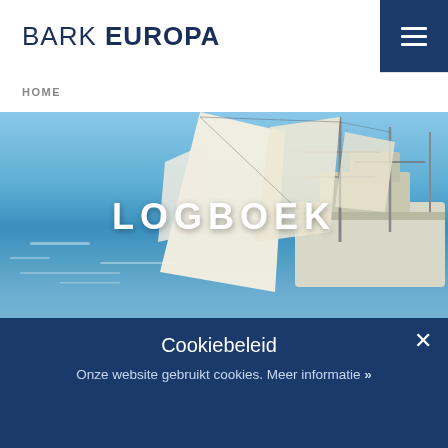BARK EUROPA
HOME
[Figure (photo): Photograph of a tall sailing ship (Bark Europa) with white and beige sails deployed, sailing on blue ocean water under a clear sky. The ship is viewed from the side showing its masts and rigging. The text LOGBOEK is overlaid in large white letters.]
LOGBOEK
Cookiebeleid
Onze website gebruikt cookies. Meer informatie »